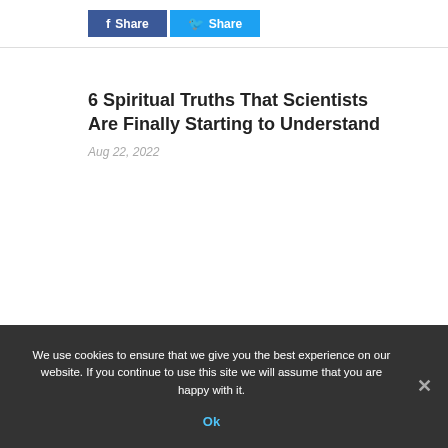[Figure (other): Facebook Share button (dark blue) and Twitter Share button (light blue) side by side]
6 Spiritual Truths That Scientists Are Finally Starting to Understand
Aug 22, 2022
We use cookies to ensure that we give you the best experience on our website. If you continue to use this site we will assume that you are happy with it.
Ok